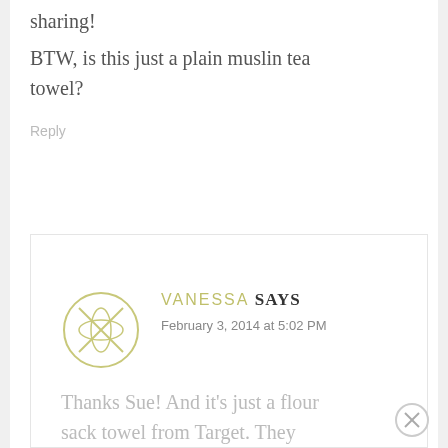sharing!
BTW, is this just a plain muslin tea towel?
Reply
VANESSA SAYS
February 3, 2014 at 5:02 PM
[Figure (logo): Circular avatar logo with an X cross pattern inside, yellowish-green border]
Thanks Sue! And it's just a flour sack towel from Target. They